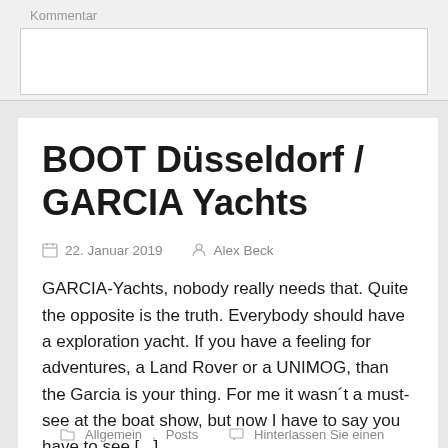Kommentar
BOOT Düsseldorf / GARCIA Yachts
22. Januar 2019   Alex Beck
GARCIA-Yachts, nobody really needs that. Quite the opposite is the truth. Everybody should have a exploration yacht. If you have a feeling for adventures, a Land Rover or a UNIMOG, than the Garcia is your thing. For me it wasn´t a must-see at the boat show, but now I have to say you have to see [...]
Allgemein, Posts   Hinterlassen Sie einen